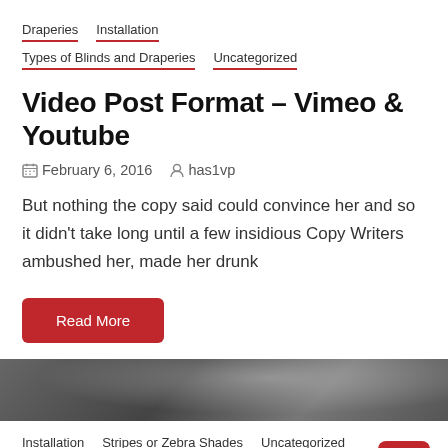Draperies
Installation
Types of Blinds and Draperies
Uncategorized
Video Post Format – Vimeo & Youtube
February 6, 2016  has1vp
But nothing the copy said could convince her and so it didn't take long until a few insidious Copy Writers ambushed her, made her drunk
Read More
[Figure (photo): Dark textured background image strip]
Installation
Stripes or Zebra Shades
Uncategorized
Audio Post Format – Soundcloud
has1vp